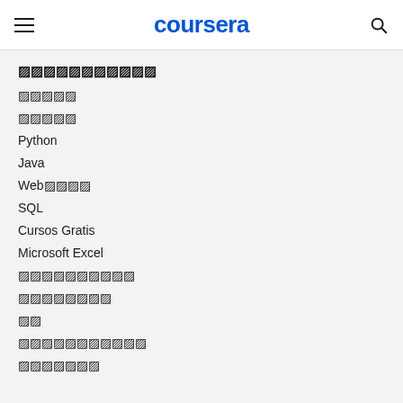coursera
【人気の検索キーワード】
機械学習
データサ
Python
Java
Web開発
SQL
Cursos Gratis
Microsoft Excel
プロジェクト管理
サイバーセキュリテ
看護
人工知能・AI入門
データ分析